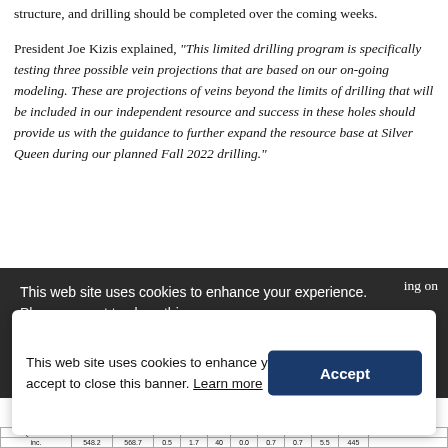structure, and drilling should be completed over the coming weeks.
President Joe Kizis explained, “This limited drilling program is specifically testing three possible vein projections that are based on our on-going modeling. These are projections of veins beyond the limits of drilling that will be included in our independent resource and success in these holes should provide us with the guidance to further expand the resource base at Silver Queen during our planned Fall 2022 drilling.”
This web site uses cookies to enhance your experience. Please accept to close this banner. Learn more
This web site uses cookies to enhance your experience. Please accept to close this banner. Learn more
| SQ/33-072 | 348.5 | 360.5 | 2.0 | 0.7 | 18 | 0.1 | 0.5 | 2.0 | 2.1 | 161 | 50% dilution |
| inc. | 548.2 | 568.7 | 0.5 | 1.7 | 40 | 0.0 | 0.7 | 0.7 | 5.5 | 445 |  |